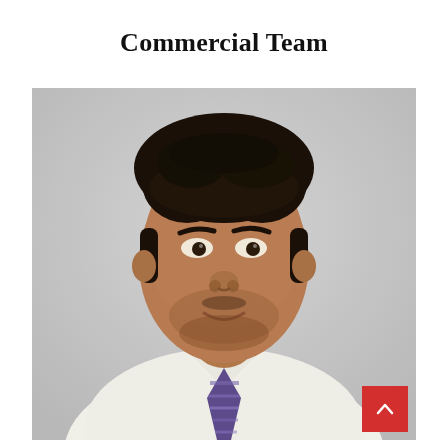Commercial Team
[Figure (photo): Professional headshot of a man with dark hair wearing a white dress shirt and a purple/blue striped tie, photographed against a light grey background.]